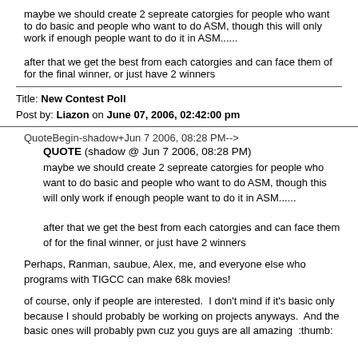maybe we should create 2 sepreate catorgies for people who want to do basic and people who want to do ASM, though this will only work if enough people want to do it in ASM......
after that we get the best from each catorgies and can face them of for the final winner, or just have 2 winners
Title: New Contest Poll
Post by: Liazon on June 07, 2006, 02:42:00 pm
QuoteBegin-shadow+Jun 7 2006, 08:28 PM-->
QUOTE (shadow @ Jun 7 2006, 08:28 PM)
maybe we should create 2 sepreate catorgies for people who want to do basic and people who want to do ASM, though this will only work if enough people want to do it in ASM......
after that we get the best from each catorgies and can face them of for the final winner, or just have 2 winners
Perhaps, Ranman, saubue, Alex, me, and everyone else who programs with TIGCC can make 68k movies!
of course, only if people are interested.  I don't mind if it's basic only because I should probably be working on projects anyways.  And the basic ones will probably pwn cuz you guys are all amazing  :thumb: